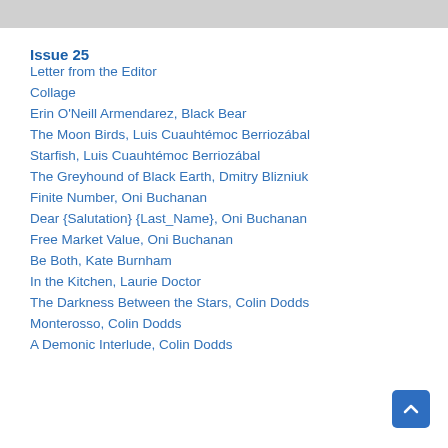Issue 25
Letter from the Editor
Collage
Erin O'Neill Armendarez, Black Bear
The Moon Birds, Luis Cuauhtémoc Berriozábal
Starfish, Luis Cuauhtémoc Berriozábal
The Greyhound of Black Earth, Dmitry Blizniuk
Finite Number, Oni Buchanan
Dear {Salutation} {Last_Name}, Oni Buchanan
Free Market Value, Oni Buchanan
Be Both, Kate Burnham
In the Kitchen, Laurie Doctor
The Darkness Between the Stars, Colin Dodds
Monterosso, Colin Dodds
A Demonic Interlude, Colin Dodds